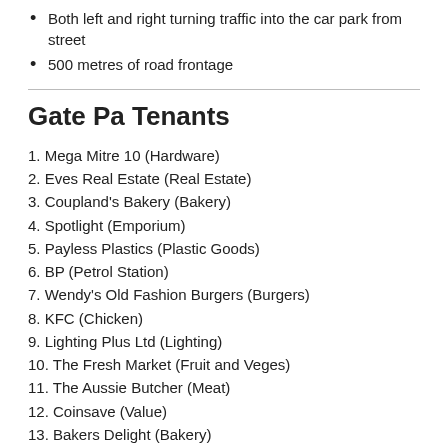Both left and right turning traffic into the car park from street
500 metres of road frontage
Gate Pa Tenants
1. Mega Mitre 10 (Hardware)
2. Eves Real Estate (Real Estate)
3. Coupland's Bakery (Bakery)
4. Spotlight (Emporium)
5. Payless Plastics (Plastic Goods)
6. BP (Petrol Station)
7. Wendy's Old Fashion Burgers (Burgers)
8. KFC (Chicken)
9. Lighting Plus Ltd (Lighting)
10. The Fresh Market (Fruit and Veges)
11. The Aussie Butcher (Meat)
12. Coinsave (Value)
13. Bakers Delight (Bakery)
14. Yamaya Sushi
15. Blaze Fitness (Gym)